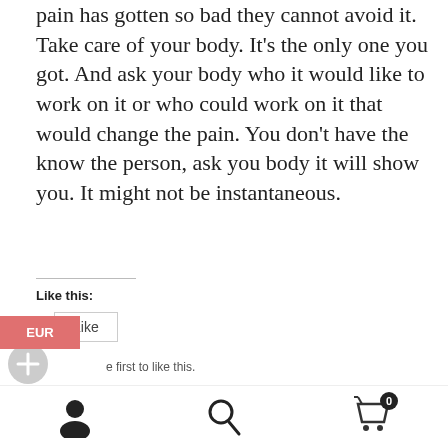pain has gotten so bad they cannot avoid it.  Take care of your body.  It's the only one you got.  And ask your body who it would like to work on it or who could work on it that would change the pain.  You don't have the know the person, ask you body it will show you.  It might not be instantaneous.
Like this:
[Figure (screenshot): Like button UI widget with EUR badge overlay and 'Be first to like this.' text]
[Figure (other): Plus circle icon]
Category: Uncategorized
← a question to ask your
How can your body
[Figure (infographic): Bottom navigation bar with user icon, search icon, and cart icon with badge showing 0]